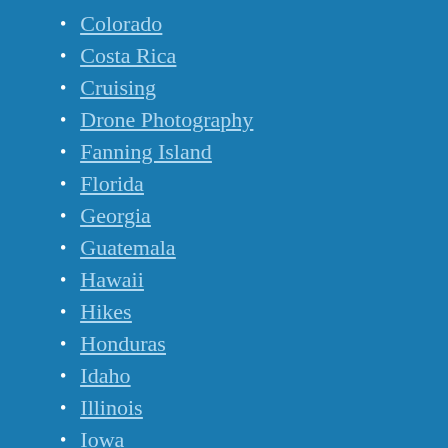Colorado
Costa Rica
Cruising
Drone Photography
Fanning Island
Florida
Georgia
Guatemala
Hawaii
Hikes
Honduras
Idaho
Illinois
Iowa
Lens-Artists Photo Challenge
Manitoba